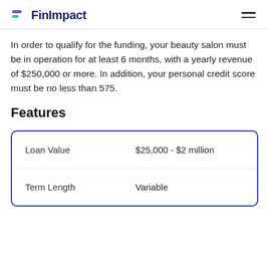FinImpact
In order to qualify for the funding, your beauty salon must be in operation for at least 6 months, with a yearly revenue of $250,000 or more. In addition, your personal credit score must be no less than 575.
Features
|  |  |
| --- | --- |
| Loan Value | $25,000 - $2 million |
| Term Length | Variable |